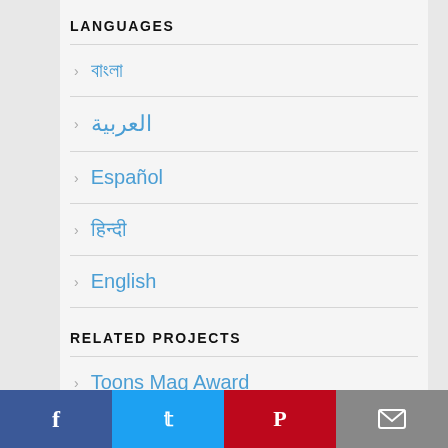LANGUAGES
বাংলা
العربية
Español
हिन्दी
English
RELATED PROJECTS
Toons Mag Award
Cartoonist Club
Cartoonists Shop